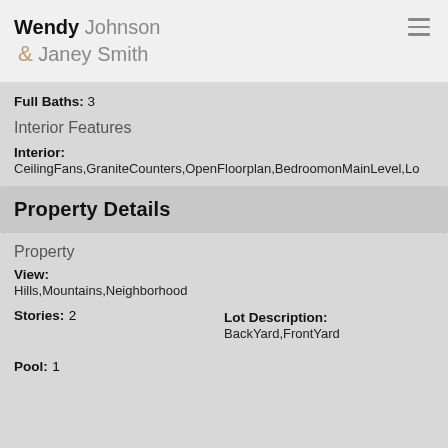Wendy Johnson & Janey Smith
Full Baths: 3
Interior Features
Interior: CeilingFans,GraniteCounters,OpenFloorplan,BedroomonMainLevel,Lo...
Property Details
Property
View: Hills,Mountains,Neighborhood
Stories: 2
Lot Description: BackYard,FrontYard
Pool: 1